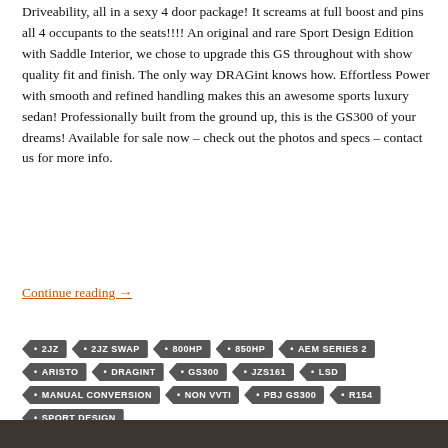Driveability, all in a sexy 4 door package!  It screams at full boost and pins all 4 occupants to the seats!!!!  An original and rare Sport Design Edition with Saddle Interior, we chose to upgrade this GS throughout with show quality fit and finish.  The only way DRAGint knows how.  Effortless Power with smooth and refined handling makes this an awesome sports luxury sedan!  Professionally built from the ground up, this is the GS300 of your dreams!  Available for sale now – check out the photos and specs – contact us for more info.
Continue reading →
2JZ
2JZ SWAP
800HP
850HP
AEM SERIES 2
ARISTO
DRAGINT
GS300
JZS161
LSD
MANUAL CONVERSION
NON VVTI
PBJ GS300
R154
SPORT DESIGN
[Figure (photo): Dark bottom strip showing bottom edge of image, appears to be a car photo]